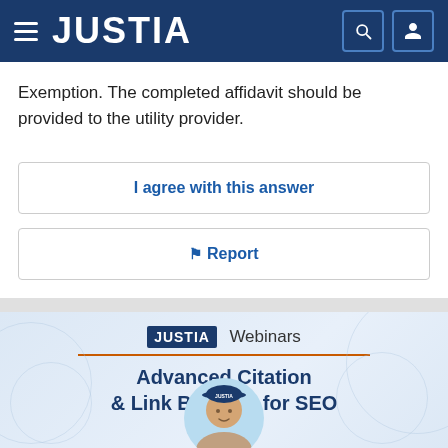JUSTIA
Exemption. The completed affidavit should be provided to the utility provider.
I agree with this answer
Report
[Figure (infographic): Justia Webinars promotional banner featuring the Justia logo, text 'Advanced Citation & Link Building for SEO', and a circular avatar photo of a man wearing a Justia cap]
Advanced Citation & Link Building for SEO